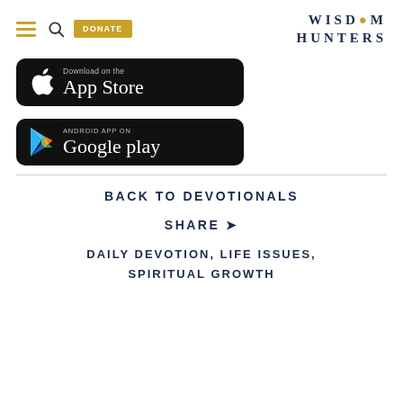Wisdom Hunters — navigation header with hamburger menu, search, DONATE button, and WISDOM HUNTERS logo
[Figure (screenshot): Download on the App Store badge (black rounded rectangle with Apple logo)]
[Figure (screenshot): Android App on Google Play badge (black rounded rectangle with Google Play triangle logo)]
BACK TO DEVOTIONALS
SHARE
DAILY DEVOTION, LIFE ISSUES,
SPIRITUAL GROWTH